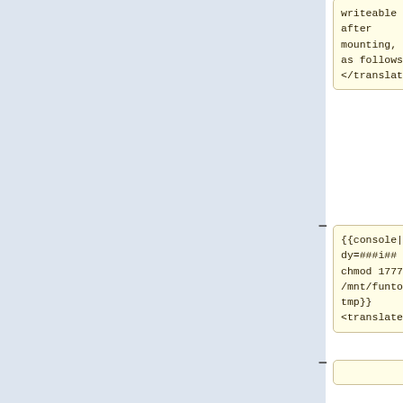writeable
after
mounting,
as follows:
</translate>
{{console|body=###i##
chmod 1777
/mnt/funtoo/
tmp}}
<translate>
====
Setting the
Date ====
<!--T:90-->
<!--T:91-->